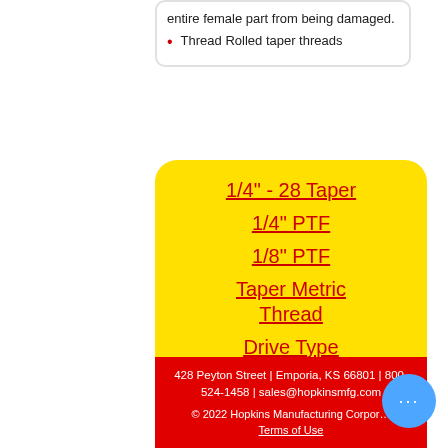entire female part from being damaged.
Thread Rolled taper threads
1/4" - 28 Taper
1/4" PTF
1/8" PTF
Taper Metric Thread
Drive Type
Assortments
Hydraulic Fitting Accessories
428 Peyton Street | Emporia, KS 66801 | 800-524-1458 | sales@hopkinsmfg.com
© 2022 Hopkins Manufacturing Corporation
Terms of Use